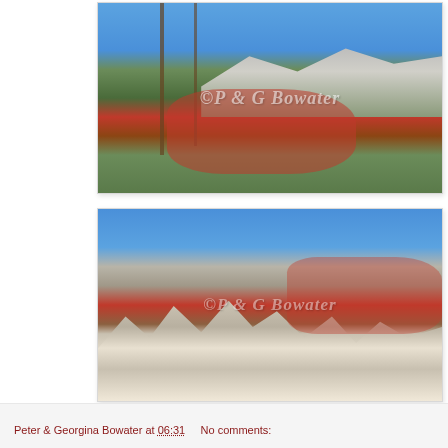[Figure (photo): Autumn forest scene with tall pine trees in foreground, red and orange deciduous trees, and a snow-dusted rocky mountain peak in the background under a blue sky. Watermark reads '©P & G Bowater'.]
[Figure (photo): Rocky limestone pinnacles and formations in foreground with autumn-colored hillsides and a grey rocky mountain ridge in the background under a clear blue sky. Watermark reads '©P & G Bowater'.]
Peter & Georgina Bowater at 06:31    No comments: